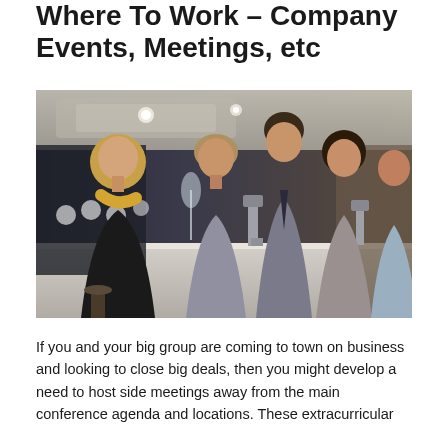Where To Work – Company Events, Meetings, etc
[Figure (photo): A group of young professionals socializing and smiling at a bar or upscale lounge, holding drinks. The setting appears to be a modern restaurant or hotel bar with dim lighting.]
If you and your big group are coming to town on business and looking to close big deals, then you might develop a need to host side meetings away from the main conference agenda and locations. These extracurricular gatherings and their Managers need to and team building